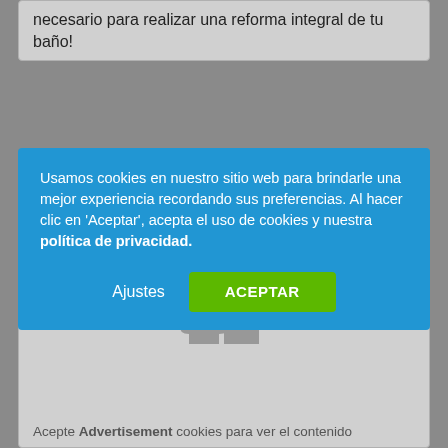necesario para realizar una reforma integral de tu baño!
[Figure (screenshot): Cookie consent banner overlay on a website. Blue background with text about cookies and privacy policy, with 'Ajustes' and 'ACEPTAR' buttons.]
Usamos cookies en nuestro sitio web para brindarle una mejor experiencia recordando sus preferencias. Al hacer clic en 'Aceptar', acepta el uso de cookies y nuestra política de privacidad.
Ajustes
ACEPTAR
Acepte Advertisement cookies para ver el contenido